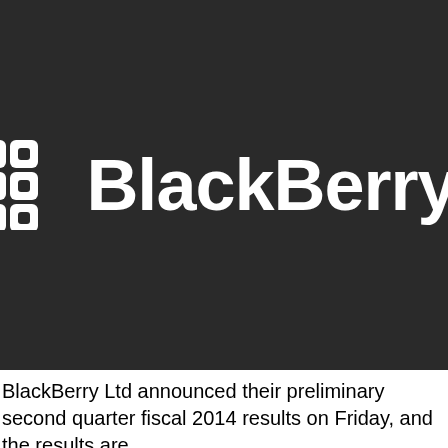[Figure (logo): BlackBerry logo on dark background — BB grid icon on the left with the word 'BlackBerry' in bold white text and a TM mark]
BlackBerry Ltd announced their preliminary second quarter fiscal 2014 results on Friday, and the results are